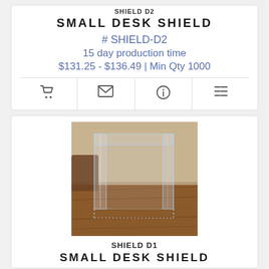SHIELD D2
SMALL DESK SHIELD
# SHIELD-D2
15 day production time
$131.25 - $136.49 | Min Qty 1000
[Figure (screenshot): Icon action bar with shopping cart, envelope, info, and list icons]
[Figure (photo): Photo of a clear acrylic desk shield (sneeze guard) placed on a wooden desk surface]
SHIELD D1
SMALL DESK SHIELD